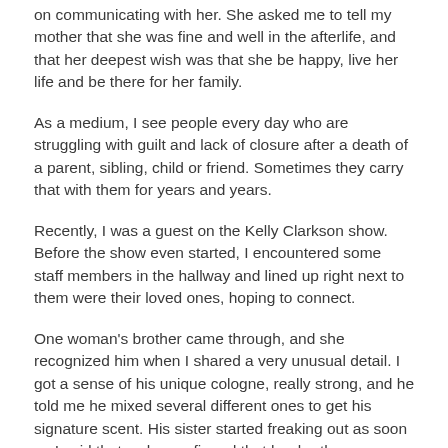on communicating with her. She asked me to tell my mother that she was fine and well in the afterlife, and that her deepest wish was that she be happy, live her life and be there for her family.
As a medium, I see people every day who are struggling with guilt and lack of closure after a death of a parent, sibling, child or friend. Sometimes they carry that with them for years and years.
Recently, I was a guest on the Kelly Clarkson show. Before the show even started, I encountered some staff members in the hallway and lined up right next to them were their loved ones, hoping to connect.
One woman's brother came through, and she recognized him when I shared a very unusual detail. I got a sense of his unique cologne, really strong, and he told me he mixed several different ones to get his signature scent. His sister started freaking out as soon as I said that – she confirmed that her brother